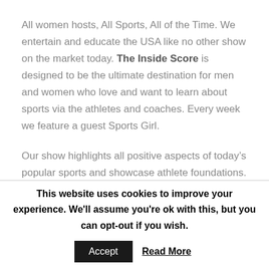All women hosts, All Sports, All of the Time. We entertain and educate the USA like no other show on the market today. The Inside Score is designed to be the ultimate destination for men and women who love and want to learn about sports via the athletes and coaches. Every week we feature a guest Sports Girl.

Our show highlights all positive aspects of todayâs popular sports and showcase athlete foundations.
This website uses cookies to improve your experience. We'll assume you're ok with this, but you can opt-out if you wish.
Accept   Read More